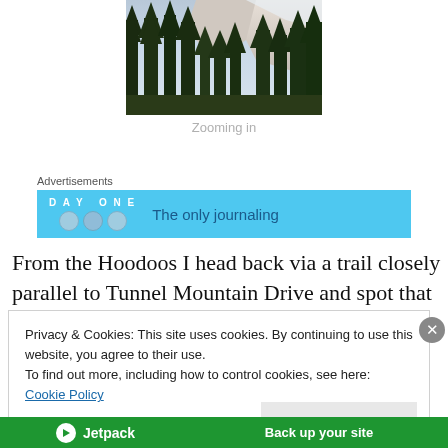[Figure (photo): Forest of tall dark evergreen pine trees with snow-covered rocky mountain cliff visible in background, zoomed in view]
Zooming in
Advertisements
[Figure (screenshot): Day One app advertisement banner with blue background showing 'DAY ONE' text and icons on left, 'The only journaling' text on right]
From the Hoodoos I head back via a trail closely parallel to Tunnel Mountain Drive and spot that cars are stopping on
Privacy & Cookies: This site uses cookies. By continuing to use this website, you agree to their use.
To find out more, including how to control cookies, see here: Cookie Policy
Close and accept
[Figure (screenshot): Jetpack advertisement banner with green background showing Jetpack logo and 'Back up your site' text]